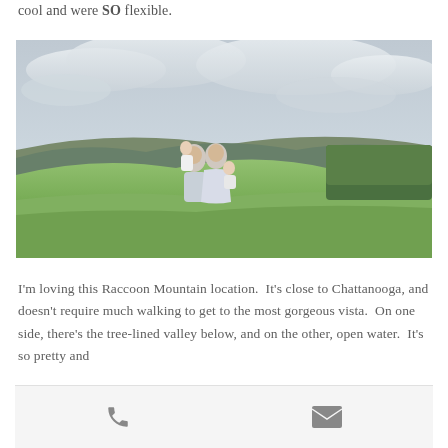cool and were SO flexible.
[Figure (photo): Family of four (man, woman, two young children) standing on a green grassy hillside at Raccoon Mountain near Chattanooga. The background shows a tree-lined valley and cloudy sky.]
I'm loving this Raccoon Mountain location.  It's close to Chattanooga, and doesn't require much walking to get to the most gorgeous vista.  On one side, there's the tree-lined valley below, and on the other, open water.  It's so pretty and
Phone icon | Email icon